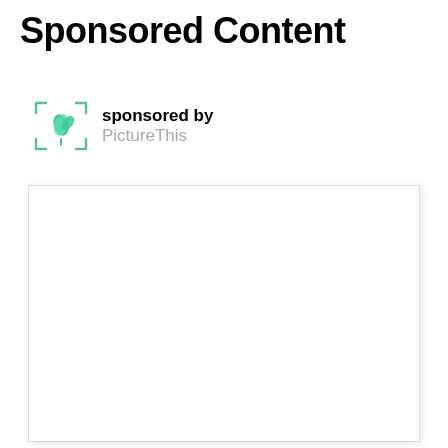Sponsored Content
[Figure (logo): PictureThis app logo with green flower/plant icon inside corner-bracket frame, with 'sponsored by' label above and 'PictureThis' text below in gray]
[Figure (other): Large white advertisement placeholder box with light gray border and subtle shadow]